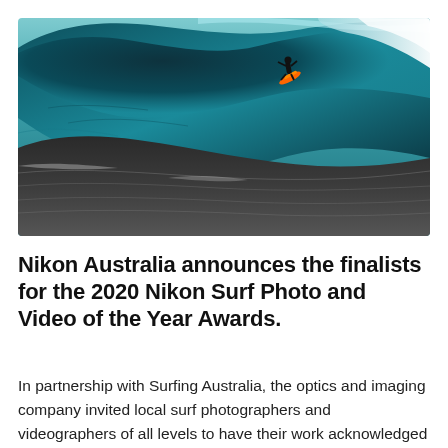[Figure (photo): A surfer riding an enormous teal/dark wave. The surfer is near the top right of the barrel, and the foreground shows dark choppy ocean water. The wave is a dramatic large swell with white spray at the crest.]
Nikon Australia announces the finalists for the 2020 Nikon Surf Photo and Video of the Year Awards.
In partnership with Surfing Australia, the optics and imaging company invited local surf photographers and videographers of all levels to have their work acknowledged and celebrated across the industry through